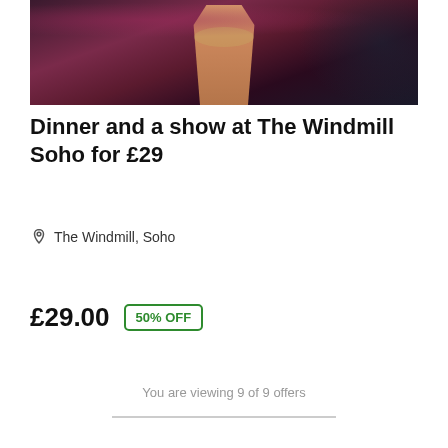[Figure (photo): A performer in a sparkly costume on a dark stage with pink/red feathery background, cropped to show torso area]
Dinner and a show at The Windmill Soho for £29
The Windmill, Soho
£29.00  50% OFF
You are viewing 9 of 9 offers